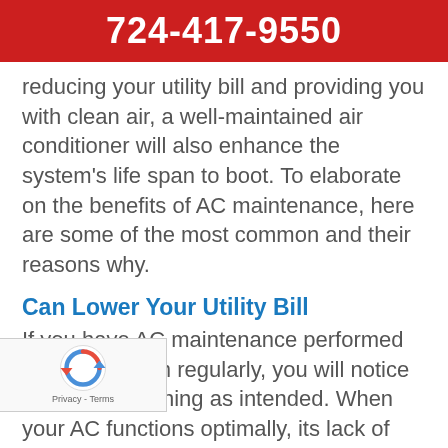724-417-9550
reducing your utility bill and providing you with clean air, a well-maintained air conditioner will also enhance the system's life span to boot. To elaborate on the benefits of AC maintenance, here are some of the most common and their reasons why.
Can Lower Your Utility Bill
If you have AC maintenance performed on your system regularly, you will notice that it's functioning as intended. When your AC functions optimally, its lack of hard work can [reduce] your cooling costs and lower your utility [bill. A]s a result, you may not think twice before